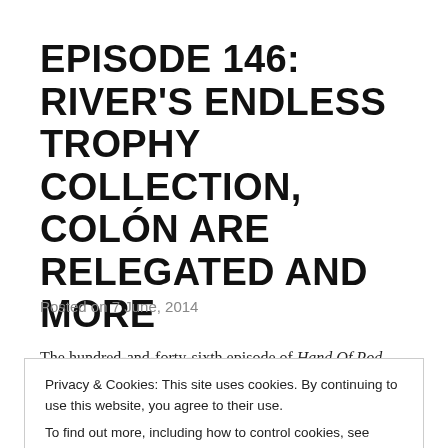EPISODE 146: RIVER'S ENDLESS TROPHY COLLECTION, COLÓN ARE RELEGATED AND MORE
Posted on 7 June, 2014
The hundred-and-forty-sixth episode of Hand Of Pod sees Sam, Peter and Andrés discuss River Plate's
Privacy & Cookies: This site uses cookies. By continuing to use this website, you agree to their use.
To find out more, including how to control cookies, see here: Cookie Policy
[Close and accept]
División status on Saturday, among other things,